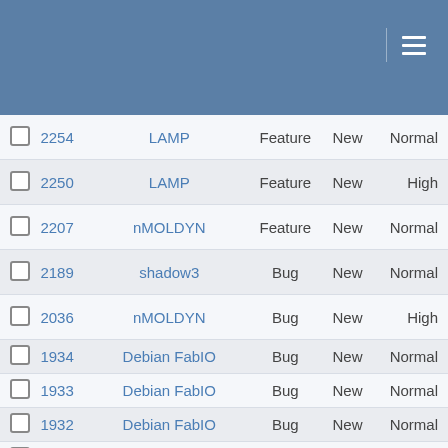|  | ID | Component | Type | Status | Priority |
| --- | --- | --- | --- | --- | --- |
|  | 2254 | LAMP | Feature | New | Normal |
|  | 2250 | LAMP | Feature | New | High |
|  | 2207 | nMOLDYN | Feature | New | Normal |
|  | 2189 | shadow3 | Bug | New | Normal |
|  | 2036 | nMOLDYN | Bug | New | High |
|  | 1934 | Debian FabIO | Bug | New | Normal |
|  | 1933 | Debian FabIO | Bug | New | Normal |
|  | 1932 | Debian FabIO | Bug | New | Normal |
|  | 1922 | LAMP | Feature | New | Normal |
|  | 1881 | vTAS | Bug | New | Normal |
|  | 1880 | Esmeralda Laue Suite | Feature | New | Normal |
|  | 1879 | Esmeralda Laue Suite | Bug | New | Normal |